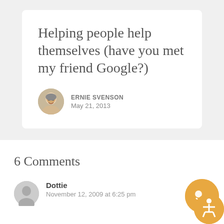Helping people help themselves (have you met my friend Google?)
ERNIE SVENSON
May 21, 2013
6 Comments
Dottie
November 12, 2009 at 6:25 pm